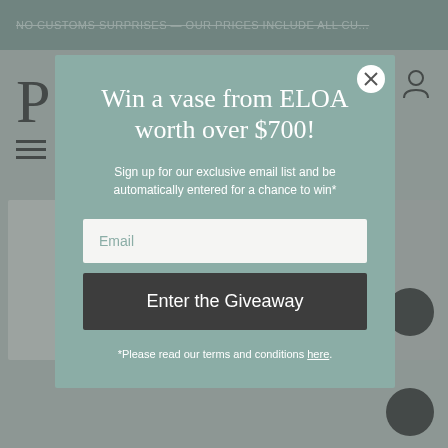NO CUSTOMS SURPRISES — OUR PRICES INCLUDE ALL CUSTOMS
[Figure (screenshot): Website background with navigation elements including a large letter P, hamburger menu icon, and user account icon]
Win a vase from ELOA worth over $700!
Sign up for our exclusive email list and be automatically entered for a chance to win*
Email
Enter the Giveaway
*Please read our terms and conditions here.